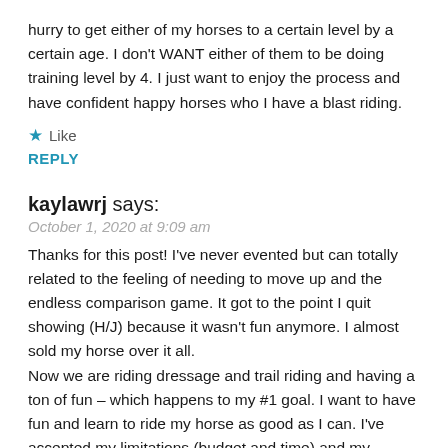hurry to get either of my horses to a certain level by a certain age. I don't WANT either of them to be doing training level by 4. I just want to enjoy the process and have confident happy horses who I have a blast riding.
Like
REPLY
kaylawrj says:
October 1, 2020 at 9:09 am
Thanks for this post! I've never evented but can totally related to the feeling of needing to move up and the endless comparison game. It got to the point I quit showing (H/J) because it wasn't fun anymore. I almost sold my horse over it all.
Now we are riding dressage and trail riding and having a ton of fun – which happens to my #1 goal. I want to have fun and learn to ride my horse as good as I can. I've accepted my limitations (budget and time) and my horses limitations as well. I'm thinking about